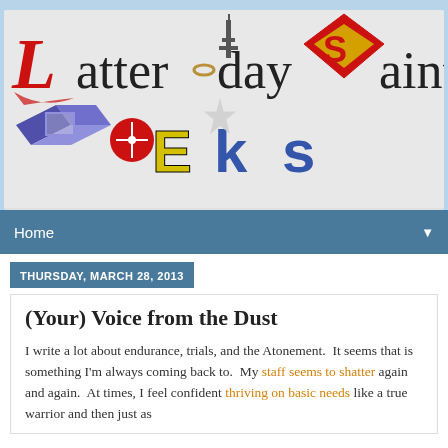[Figure (logo): Latter-day Saint Geeks blog logo with stylized letters using various pop culture icons: a red Gothic L, LotR ring for 'a', Burj Khalifa for 'day', Superman logo for 'S', GameCube logo for 'G', Star Wars Jedi symbol for 'e', yellow/black E from some logo, Star Trek insignia style K, blue arc for 's']
Home ▼
THURSDAY, MARCH 28, 2013
(Your) Voice from the Dust
I write a lot about endurance, trials, and the Atonement.  It seems that is something I'm always coming back to.  My staff seems to shatter again and again.  At times, I feel confident thriving on basic needs like a true warrior and then just as